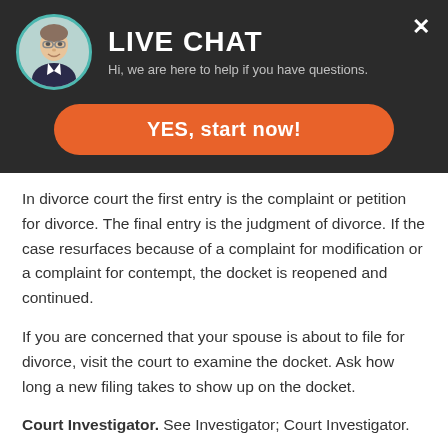[Figure (screenshot): Live chat widget header with circular avatar photo of a man in a suit and glasses, title 'LIVE CHAT', subtitle 'Hi, we are here to help if you have questions.', and a close X button in the top right corner, all on a dark background.]
[Figure (other): Orange rounded button labeled 'YES, start now!' on dark background]
In divorce court the first entry is the complaint or petition for divorce. The final entry is the judgment of divorce. If the case resurfaces because of a complaint for modification or a complaint for contempt, the docket is reopened and continued.
If you are concerned that your spouse is about to file for divorce, visit the court to examine the docket. Ask how long a new filing takes to show up on the docket.
Court Investigator. See Investigator; Court Investigator.